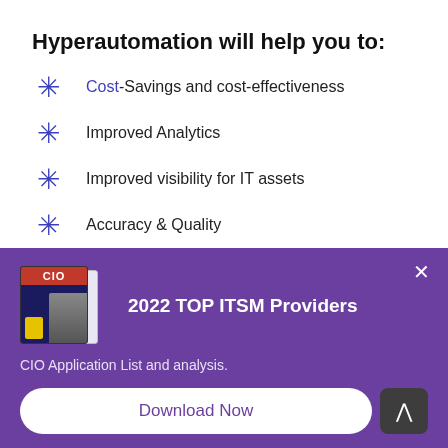Hyperautomation will help you to:
Cost-Savings and cost-effectiveness
Improved Analytics
Improved visibility for IT assets
Accuracy & Quality
[Figure (other): Popup banner with purple background showing CIO magazine cover images, title '2022 TOP ITSM Providers', subtitle 'CIO Application List and analysis.', a Download Now button, and a close X button.]